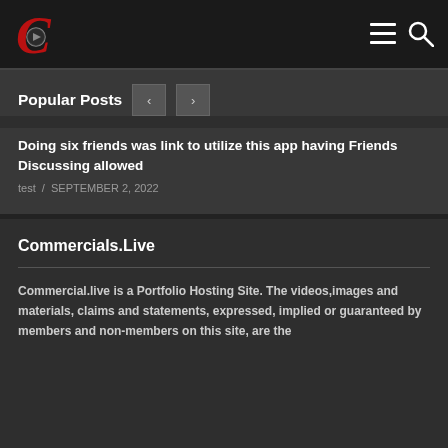[Figure (logo): Commercials.Live logo: red letter C with a circular play button icon inside, on dark background]
Popular Posts
Doing six friends was link to utilize this app having Friends Discussing allowed
test / SEPTEMBER 2, 2022
Commercials.Live
Commercial.live is a Portfolio Hosting Site. The videos,images and materials, claims and statements, expressed, implied or guaranteed by members and non-members on this site, are the